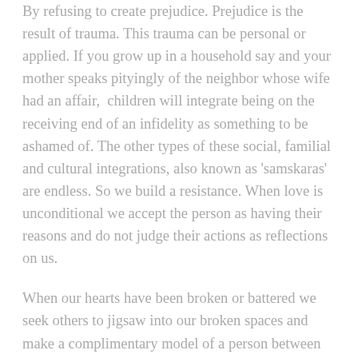By refusing to create prejudice. Prejudice is the result of trauma. This trauma can be personal or applied. If you grow up in a household say and your mother speaks pityingly of the neighbor whose wife had an affair,  children will integrate being on the receiving end of an infidelity as something to be ashamed of. The other types of these social, familial and cultural integrations, also known as 'samskaras' are endless. So we build a resistance. When love is unconditional we accept the person as having their reasons and do not judge their actions as reflections on us.
When our hearts have been broken or battered we seek others to jigsaw into our broken spaces and make a complimentary model of a person between two hearts. If your soul chose the journey of unconditional love (which it seems the TF vibe is all about); you don't get to do this.
The twin journey, as far as I have collated, is to undo every